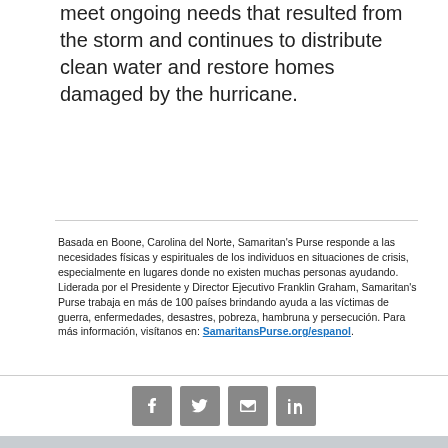meet ongoing needs that resulted from the storm and continues to distribute clean water and restore homes damaged by the hurricane.
Basada en Boone, Carolina del Norte, Samaritan's Purse responde a las necesidades físicas y espirituales de los individuos en situaciones de crisis, especialmente en lugares donde no existen muchas personas ayudando. Liderada por el Presidente y Director Ejecutivo Franklin Graham, Samaritan's Purse trabaja en más de 100 países brindando ayuda a las víctimas de guerra, enfermedades, desastres, pobreza, hambruna y persecución. Para más información, visítanos en: SamaritansPurse.org/espanol.
[Figure (infographic): Four social media sharing icons: Facebook, Twitter, Email, LinkedIn]